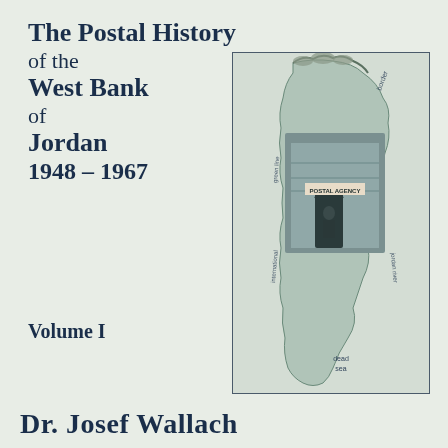The Postal History of the West Bank of Jordan 1948 – 1967
Volume I
[Figure (illustration): Map/illustration showing the shape of the West Bank region with a photo of a postal building (POST OFFICE) overlaid. Labels include 'border', 'green line', 'international', 'jordan river', 'Dead Sea'. The image is framed with a thin border.]
Dr. Josef Wallach